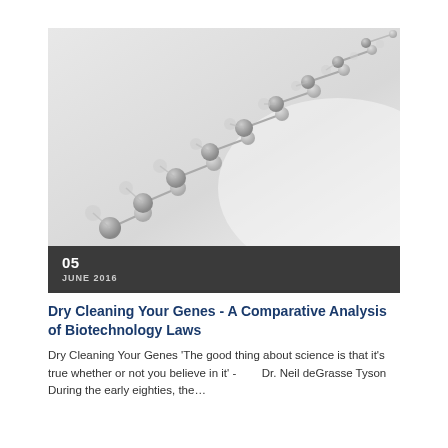[Figure (photo): Close-up photograph of a DNA double helix model rendered in grey/white tones against a light grey background. The helix structure shows spherical nodes connected by rods forming the characteristic double-helix shape.]
05
JUNE 2016
Dry Cleaning Your Genes - A Comparative Analysis of Biotechnology Laws
Dry Cleaning Your Genes 'The good thing about science is that it's true whether or not you believe in it' -        Dr. Neil deGrasse Tyson During the early eighties, the…